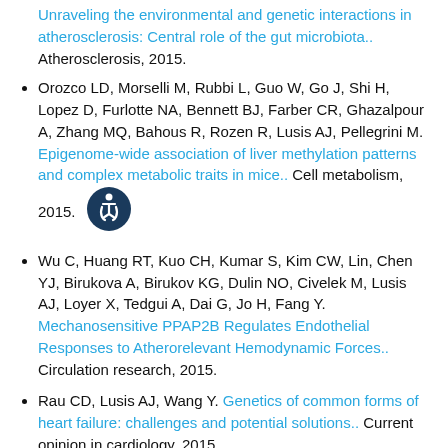(continuation) Org L, Mehrabian M, Lusis AJ. Unraveling the environmental and genetic interactions in atherosclerosis: Central role of the gut microbiota.. Atherosclerosis, 2015.
Orozco LD, Morselli M, Rubbi L, Guo W, Go J, Shi H, Lopez D, Furlotte NA, Bennett BJ, Farber CR, Ghazalpour A, Zhang MQ, Bahous R, Rozen R, Lusis AJ, Pellegrini M. Epigenome-wide association of liver methylation patterns and complex metabolic traits in mice.. Cell metabolism, 2015.
Wu C, Huang RT, Kuo CH, Kumar S, Kim CW, Lin, Chen YJ, Birukova A, Birukov KG, Dulin NO, Civelek M, Lusis AJ, Loyer X, Tedgui A, Dai G, Jo H, Fang Y. Mechanosensitive PPAP2B Regulates Endothelial Responses to Atherorelevant Hemodynamic Forces.. Circulation research, 2015.
Rau CD, Lusis AJ, Wang Y. Genetics of common forms of heart failure: challenges and potential solutions.. Current opinion in cardiology, 2015.